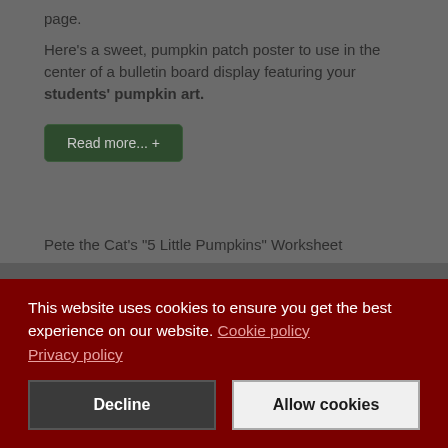page.
Here's a sweet, pumpkin patch poster to use in the center of a bulletin board display featuring your students' pumpkin art.
Read more... +
Pete the Cat's "5 Little Pumpkins" Worksheet
This website uses cookies to ensure you get the best experience on our website. Cookie policy
Privacy policy
Decline
Allow cookies